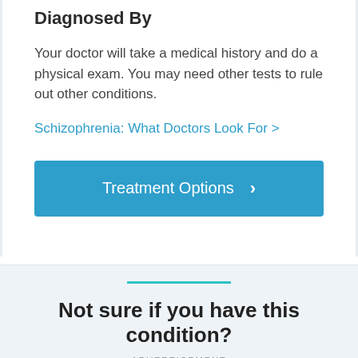Diagnosed By
Your doctor will take a medical history and do a physical exam. You may need other tests to rule out other conditions.
Schizophrenia: What Doctors Look For >
[Figure (other): Blue button labeled 'Treatment Options' with a right-pointing chevron arrow]
[Figure (other): Light blue advertisement section with teal horizontal line, bold text 'Not sure if you have this condition?' and 'ADVERTISEMENT' label below]
ADVERTISEMENT